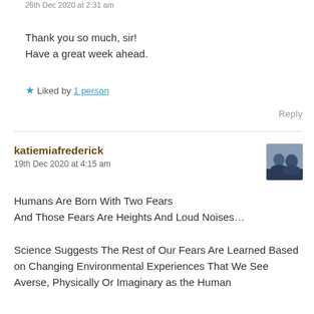26th Dec 2020 at 2:31 am
Thank you so much, sir!
Have a great week ahead.
★ Liked by 1 person
Reply
katiemiafrederick
19th Dec 2020 at 4:15 am
Humans Are Born With Two Fears
And Those Fears Are Heights And Loud Noises…

Science Suggests The Rest of Our Fears Are Learned Based on Changing Environmental Experiences That We See Averse, Physically Or Imaginary as the Human